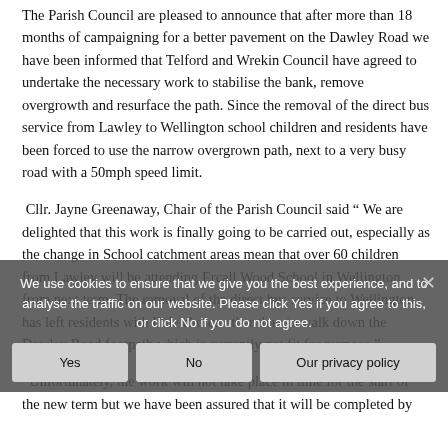The Parish Council are pleased to announce that after more than 18 months of campaigning for a better pavement on the Dawley Road we have been informed that Telford and Wrekin Council have agreed to undertake the necessary work to stabilise the bank, remove overgrowth and resurface the path. Since the removal of the direct bus service from Lawley to Wellington school children and residents have been forced to use the narrow overgrown path, next to a very busy road with a 50mph speed limit.
Cllr. Jayne Greenaway, Chair of the Parish Council said “ We are delighted that this work is finally going to be carried out, especially as the change in School catchment areas mean that over 60 children from Lawley will be attending Ercall Wood School in Wellington from next term. The removal of the direct bus service to Wellington has left residents with little choice other than to walk down the Dawley Road footpath which is currently not fit for purpose.”
Unfortunately, the work will not take place in time for the start of the new term but we have been assured that it will be completed by the end of December. Further details will be provided when they are available.
We use cookies to ensure that we give you the best experience, and to analyse the traffic on our website. Please click Yes if you agree to this, or click No if you do not agree.